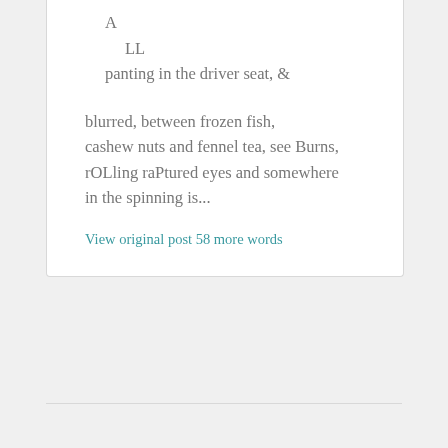A
    LL
panting in the driver seat,  &

blurred, between frozen fish,
cashew nuts and fennel tea, see Burns,
rOLling raPtured eyes and somewhere
in the spinning is...
View original post 58 more words